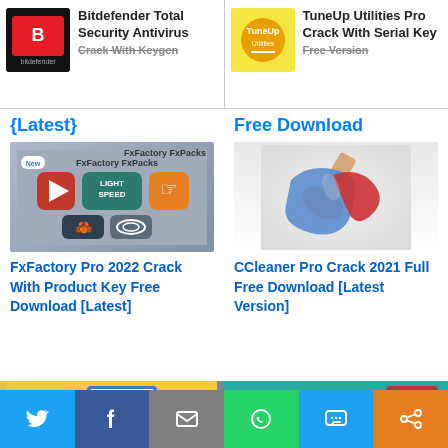[Figure (screenshot): Bitdefender Total Security Antivirus logo thumbnail with dark background and red B icon]
Bitdefender Total Security Antivirus Crack With Keygen
[Figure (screenshot): TuneUp Utilities Pro yellow gear icon thumbnail]
TuneUp Utilities Pro Crack With Serial Key Free Version
{Latest}
Free Download
[Figure (screenshot): FxFactory FxPacks app grid showing play, light speed, hand cursor, crab, and wave icons on grey background]
[Figure (illustration): CCleaner Pro broom/brush logo with blue, red, and tan colors]
FxFactory Pro 2022 Crack With Product Key Free Download [Latest]
CCleaner Pro Crack 2021 Full Free Download [Latest Version]
[Figure (screenshot): TuneUp Utilities product box with yellow X icons and blue packaging]
[Figure (screenshot): ESET Cyber Security product image with teal background and white text]
[Figure (infographic): Social sharing bar with Twitter, Facebook, Email, WhatsApp, SMS, and share icons]